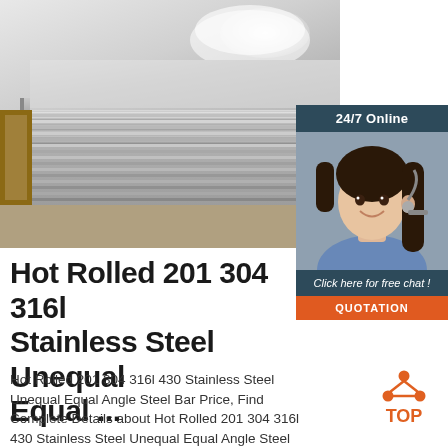[Figure (photo): Stacked stainless steel flat sheets/plates piled on a wooden pallet on a warehouse floor, with a glossy reflective surface visible on the top sheet.]
[Figure (infographic): 24/7 Online chat widget overlay showing a customer service representative (woman with headset smiling), with text 'Click here for free chat!' and an orange 'QUOTATION' button.]
Hot Rolled 201 304 316l Stainless Steel Unequal Equal ...
[Figure (logo): Orange TOP badge/logo with upward arrow dots triangle icon above the word TOP.]
Hot Rolled 201 304 316l 430 Stainless Steel Unequal Equal Angle Steel Bar Price, Find Complete Details about Hot Rolled 201 304 316l 430 Stainless Steel Unequal Equal Angle Steel